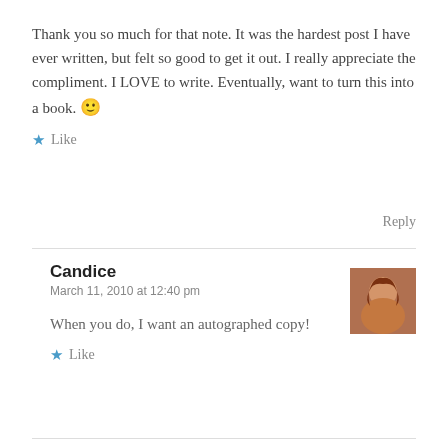Thank you so much for that note. It was the hardest post I have ever written, but felt so good to get it out. I really appreciate the compliment. I LOVE to write. Eventually, want to turn this into a book. 🙂
★ Like
Reply
Candice
March 11, 2010 at 12:40 pm
[Figure (photo): Avatar photo of Candice, a woman with reddish-brown hair]
When you do, I want an autographed copy!
★ Like